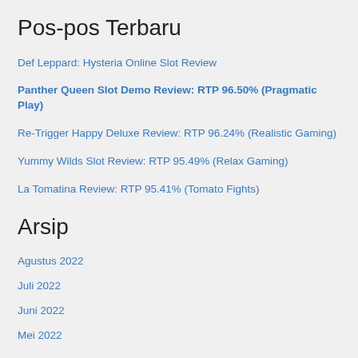Pos-pos Terbaru
Def Leppard: Hysteria Online Slot Review
Panther Queen Slot Demo Review: RTP 96.50% (Pragmatic Play)
Re-Trigger Happy Deluxe Review: RTP 96.24% (Realistic Gaming)
Yummy Wilds Slot Review: RTP 95.49% (Relax Gaming)
La Tomatina Review: RTP 95.41% (Tomato Fights)
Arsip
Agustus 2022
Juli 2022
Juni 2022
Mei 2022